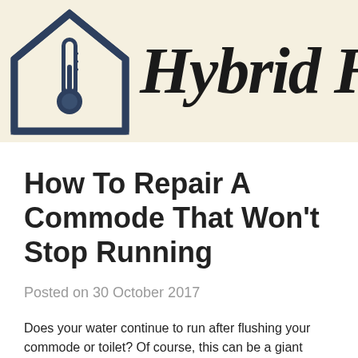[Figure (logo): Hybrid home brand logo with house outline containing thermometer icon and cursive 'Hybrid' text on cream background]
How To Repair A Commode That Won't Stop Running
Posted on 30 October 2017
Does your water continue to run after flushing your commode or toilet? Of course, this can be a giant waste of water, not to mention it can be loud and annoying.